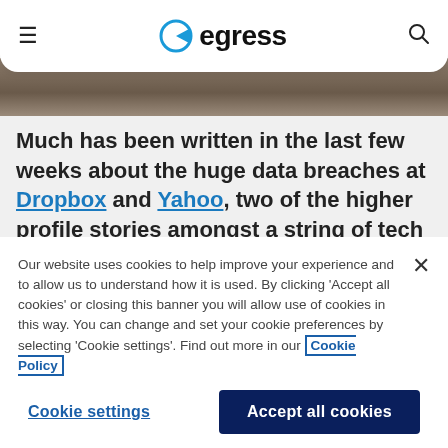egress
[Figure (photo): Partial photo strip visible behind header]
Much has been written in the last few weeks about the huge data breaches at Dropbox and Yahoo, two of the higher profile stories amongst a string of tech companies that
Our website uses cookies to help improve your experience and to allow us to understand how it is used. By clicking 'Accept all cookies' or closing this banner you will allow use of cookies in this way. You can change and set your cookie preferences by selecting 'Cookie settings'. Find out more in our Cookie Policy
Cookie settings | Accept all cookies